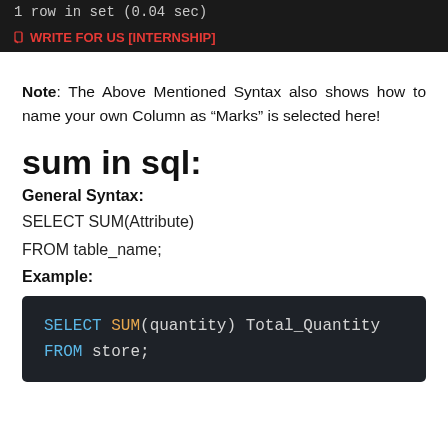[Figure (screenshot): Dark terminal/banner showing '1 row in set (0.04 sec)' and a red 'WRITE FOR US [INTERNSHIP]' link with pencil icon]
Note: The Above Mentioned Syntax also shows how to name your own Column as “Marks” is selected here!
sum in sql:
General Syntax:
SELECT SUM(Attribute)
FROM table_name;
Example:
[Figure (screenshot): Dark code block showing SQL: SELECT SUM(quantity) Total_Quantity FROM store;]